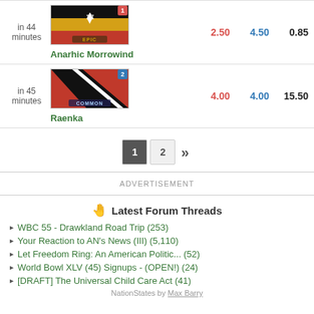in 44 minutes — Anarhic Morrowind — 2.50 / 4.50 / 0.85
in 45 minutes — Raenka — 4.00 / 4.00 / 15.50
Pagination: 1 2 »
ADVERTISEMENT
Latest Forum Threads
WBC 55 - Drawkland Road Trip (253)
Your Reaction to AN's News (III) (5,110)
Let Freedom Ring: An American Politic... (52)
World Bowl XLV (45) Signups - (OPEN!) (24)
[DRAFT] The Universal Child Care Act (41)
NationStates by Max Barry